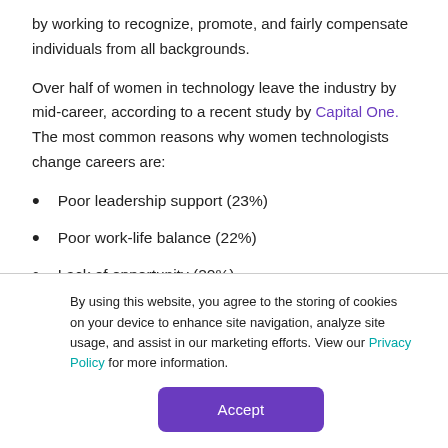by working to recognize, promote, and fairly compensate individuals from all backgrounds.
Over half of women in technology leave the industry by mid-career, according to a recent study by Capital One. The most common reasons why women technologists change careers are:
Poor leadership support (23%)
Poor work-life balance (22%)
Lack of opportunity (20%)
By using this website, you agree to the storing of cookies on your device to enhance site navigation, analyze site usage, and assist in our marketing efforts. View our Privacy Policy for more information.